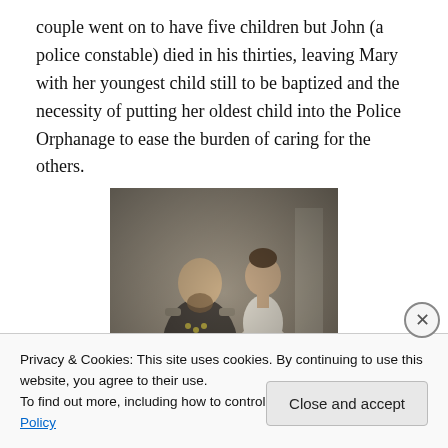couple went on to have five children but John (a police constable) died in his thirties, leaving Mary with her youngest child still to be baptized and the necessity of putting her oldest child into the Police Orphanage to ease the burden of caring for the others.
[Figure (photo): Black and white vintage photograph of a man in military uniform and a woman in a formal dress, likely a wedding or formal portrait from the late 19th or early 20th century.]
Privacy & Cookies: This site uses cookies. By continuing to use this website, you agree to their use.
To find out more, including how to control cookies, see here: Cookie Policy